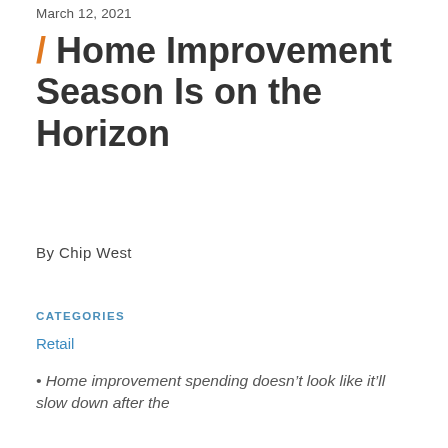March 12, 2021
/ Home Improvement Season Is on the Horizon
By Chip West
CATEGORIES
Retail
• Home improvement spending doesn't look like it'll slow down after the